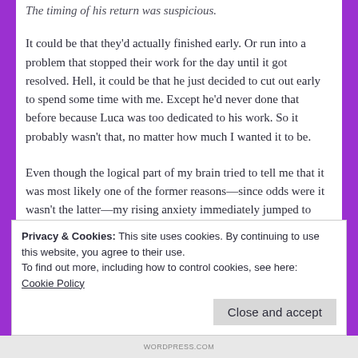The timing of his return was suspicious.
It could be that they'd actually finished early. Or run into a problem that stopped their work for the day until it got resolved. Hell, it could be that he just decided to cut out early to spend some time with me. Except he'd never done that before because Luca was too dedicated to his work. So it probably wasn't that, no matter how much I wanted it to be.
Even though the logical part of my brain tried to tell me that it was most likely one of the former reasons—since odds were it wasn't the latter—my rising anxiety immediately jumped to worse case scenario. Panic burbled in my gut, making my stomach ache in that way it did. I had to swallow hard just to keep myself breathing normally.
Privacy & Cookies: This site uses cookies. By continuing to use this website, you agree to their use.
To find out more, including how to control cookies, see here:
Cookie Policy
Close and accept
WORDPRESS.COM